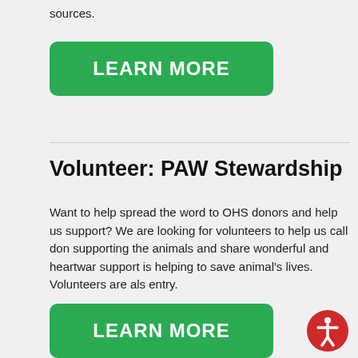sources.
[Figure (other): Green 'LEARN MORE' button]
Volunteer: PAW Stewardship
Want to help spread the word to OHS donors and help us support? We are looking for volunteers to help us call don supporting the animals and share wonderful and heartwar support is helping to save animal's lives. Volunteers are als entry.
[Figure (other): Green 'LEARN MORE' button at bottom]